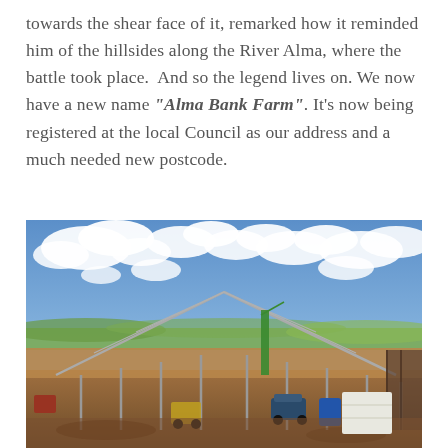towards the shear face of it, remarked how it reminded him of the hillsides along the River Alma, where the battle took place.  And so the legend lives on. We now have a new name "Alma Bank Farm". It's now being registered at the local Council as our address and a much needed new postcode.
[Figure (photo): Construction site photograph showing a large steel-framed agricultural barn or building under construction with no cladding yet, set against a partly cloudy blue sky. Green rolling countryside is visible in the background. Construction equipment, vehicles, and materials are visible on the muddy ground around the structure.]